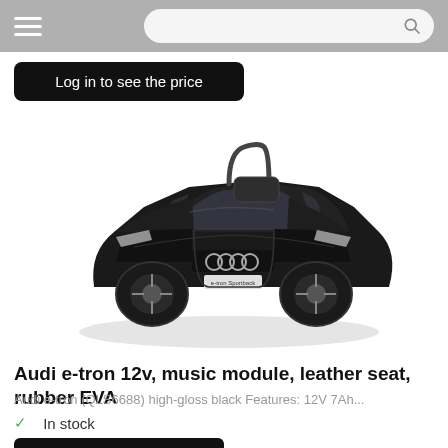Navigation bar with hamburger menu and search bar
Log in to see the price
[Figure (photo): Black Audi e-tron ride-on toy car for children, shown in high-gloss black finish, front-angled view with Audi four-ring logo on grille and a parent handle at the rear]
Audi e-tron 12v, music module, leather seat, rubber EVA
Audi e-tron (QLS6688) high-gloss black Features: 12V 7Ah...
✓ In stock